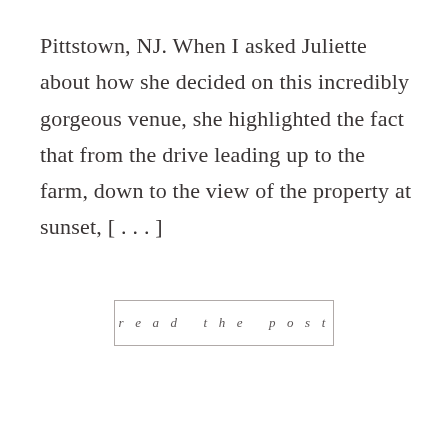Pittstown, NJ. When I asked Juliette about how she decided on this incredibly gorgeous venue, she highlighted the fact that from the drive leading up to the farm, down to the view of the property at sunset, [...]
read the post